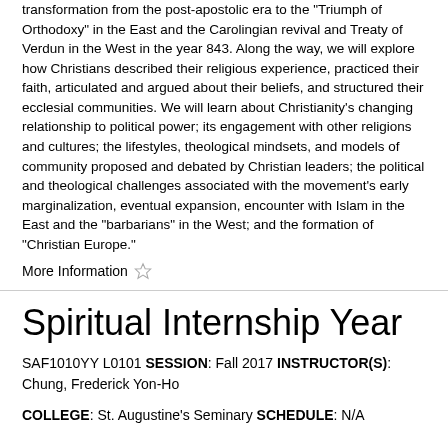transformation from the post-apostolic era to the "Triumph of Orthodoxy" in the East and the Carolingian revival and Treaty of Verdun in the West in the year 843. Along the way, we will explore how Christians described their religious experience, practiced their faith, articulated and argued about their beliefs, and structured their ecclesial communities. We will learn about Christianity's changing relationship to political power; its engagement with other religions and cultures; the lifestyles, theological mindsets, and models of community proposed and debated by Christian leaders; the political and theological challenges associated with the movement's early marginalization, eventual expansion, encounter with Islam in the East and the "barbarians" in the West; and the formation of "Christian Europe."
More Information ☆
Spiritual Internship Year
SAF1010YY L0101 SESSION: Fall 2017 INSTRUCTOR(S): Chung, Frederick Yon-Ho
COLLEGE: St. Augustine's Seminary SCHEDULE: N/A